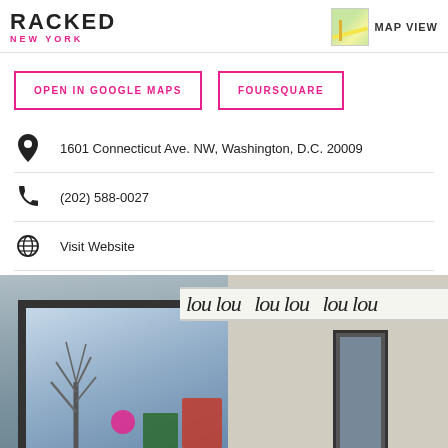RACKED NEW YORK
MAP VIEW
OPEN IN GOOGLE MAPS
FOURSQUARE
1601 Connecticut Ave. NW, Washington, D.C. 20009
(202) 588-0027
Visit Website
[Figure (photo): Exterior storefront of lou lou boutique showing large display window with decorative items, beige facade with repeated cursive 'lou lou' text on awning signage, and entry door]